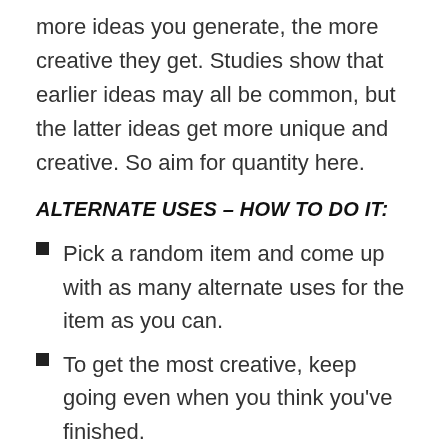more ideas you generate, the more creative they get. Studies show that earlier ideas may all be common, but the latter ideas get more unique and creative. So aim for quantity here.
ALTERNATE USES – HOW TO DO IT:
Pick a random item and come up with as many alternate uses for the item as you can.
To get the most creative, keep going even when you think you've finished.